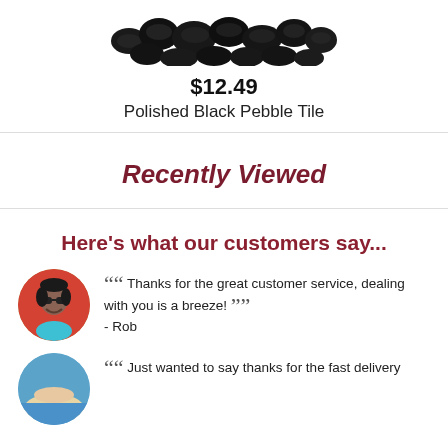[Figure (photo): Close-up photo of polished black pebble tiles/stones arranged together at the top of the page]
$12.49
Polished Black Pebble Tile
Recently Viewed
Here's what our customers say...
[Figure (photo): Circular avatar photo of a smiling man wearing sunglasses]
Thanks for the great customer service, dealing with you is a breeze! - Rob
[Figure (photo): Circular avatar photo of a beach scene, partially visible at bottom of page]
Just wanted to say thanks for the fast delivery